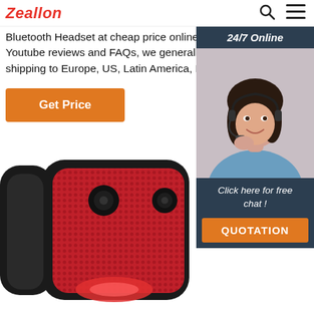Zeallon
Bluetooth Headset at cheap price online, with Youtube reviews and FAQs, we generally offer free shipping to Europe, US, Latin America, Russia, etc.
Get Price
[Figure (photo): Customer service agent woman wearing a headset, smiling, with '24/7 Online' label and 'Click here for free chat!' and 'QUOTATION' button overlay]
[Figure (photo): Close-up of a red and black portable Bluetooth speaker with mesh grille and LED lighting]